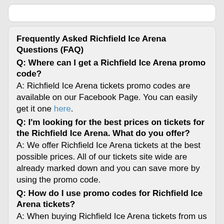Frequently Asked Richfield Ice Arena Questions (FAQ)
Q: Where can I get a Richfield Ice Arena promo code?
A: Richfield Ice Arena tickets promo codes are available on our Facebook Page. You can easily get it one here.
Q: I'm looking for the best prices on tickets for the Richfield Ice Arena. What do you offer?
A: We offer Richfield Ice Arena tickets at the best possible prices. All of our tickets site wide are already marked down and you can save more by using the promo code.
Q: How do I use promo codes for Richfield Ice Arena tickets?
A: When buying Richfield Ice Arena tickets from us you will be asked for your discount code/promo code on the checkout page. Enter the code provided and save on your tickets. It's that easy.
Q:  Where can I get Richfield Ice Arena seating charts?